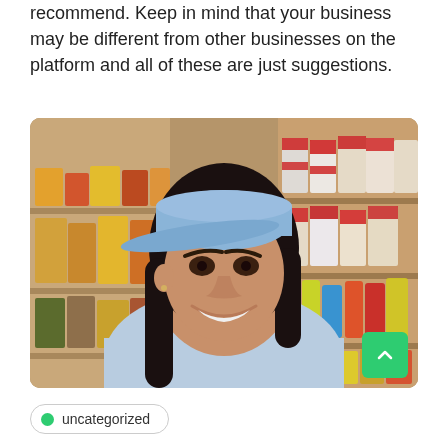recommend. Keep in mind that your business may be different from other businesses on the platform and all of these are just suggestions.
[Figure (photo): A smiling woman wearing a light blue cap and light blue t-shirt, taking a selfie inside a grocery/convenience store with colorful packaged goods on shelves behind her. A green scroll-to-top button is visible in the bottom-right corner of the image.]
uncategorized